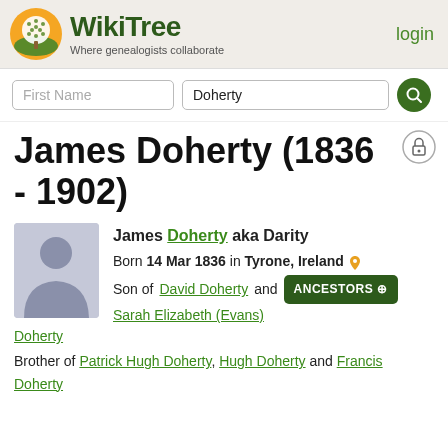WikiTree — Where genealogists collaborate | login
First Name | Doherty [search]
James Doherty (1836 - 1902)
James Doherty aka Darity
Born 14 Mar 1836 in Tyrone, Ireland
Son of David Doherty and Sarah Elizabeth (Evans) Doherty
Brother of Patrick Hugh Doherty, Hugh Doherty and Francis Doherty